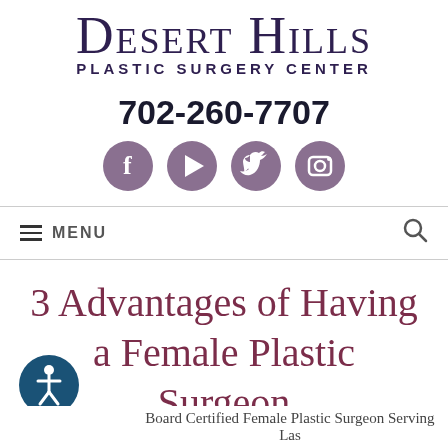DESERT HILLS PLASTIC SURGERY CENTER
702-260-7707
[Figure (infographic): Four circular social media icons: Facebook, YouTube, Twitter, Instagram — rendered in muted mauve/purple-gray color]
☰ MENU
3 Advantages of Having a Female Plastic Surgeon
[Figure (illustration): Accessibility button icon — circular dark teal button with person/wheelchair accessibility symbol]
Board Certified Female Plastic Surgeon Serving Las